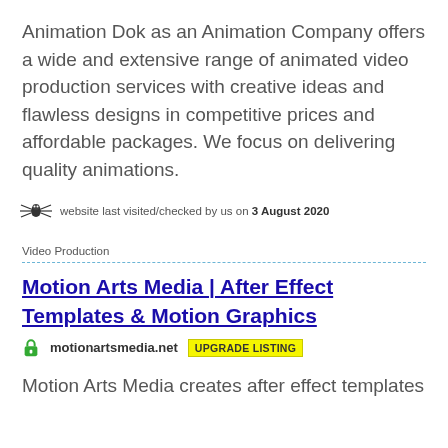Animation Dok as an Animation Company offers a wide and extensive range of animated video production services with creative ideas and flawless designs in competitive prices and affordable packages. We focus on delivering quality animations.
website last visited/checked by us on 3 August 2020
Video Production
Motion Arts Media | After Effect Templates & Motion Graphics
motionartsmedia.net  UPGRADE LISTING
Motion Arts Media creates after effect templates